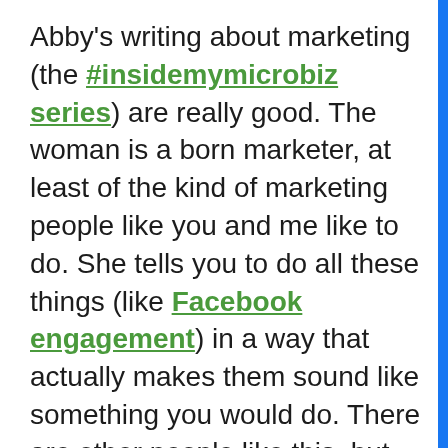Abby's writing about marketing (the #insidemymicrobiz series) are really good. The woman is a born marketer, at least of the kind of marketing people like you and me like to do. She tells you to do all these things (like Facebook engagement) in a way that actually makes them sound like something you would do. There are other people like this, but they are mostly not marketers. Find them. Stalk them obsessively. Understand their tao.
As to #5 — hahahahahaha. That's not really going to happen. I have another client who is a writer. With every launch, she gets a little better at marketing. She's knows what she's doing, with what she's done before, and